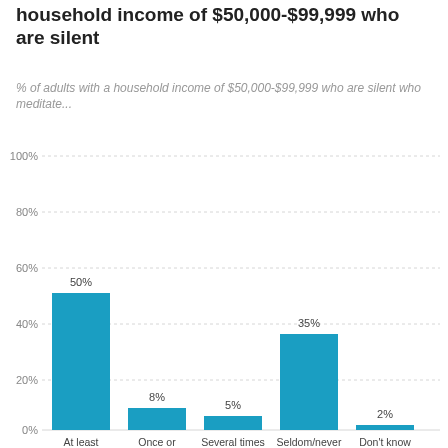household income of $50,000-$99,999 who are silent
% of adults with a household income of $50,000-$99,999 who are silent who meditate...
[Figure (bar-chart): % of adults with a household income of $50,000-$99,999 who are silent who meditate...]